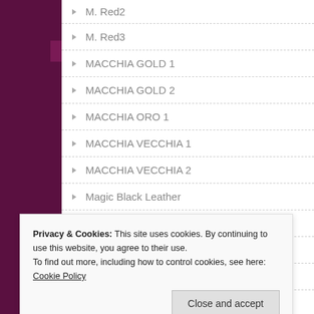M. Red2
M. Red3
MACCHIA GOLD 1
MACCHIA GOLD 2
MACCHIA ORO 1
MACCHIA VECCHIA 1
MACCHIA VECCHIA 2
Magic Black Leather
makrana marble
MAKRANA MARBLE 1
MAKRANA MARBLE 2
Privacy & Cookies: This site uses cookies. By continuing to use this website, you agree to their use.
To find out more, including how to control cookies, see here: Cookie Policy
Close and accept